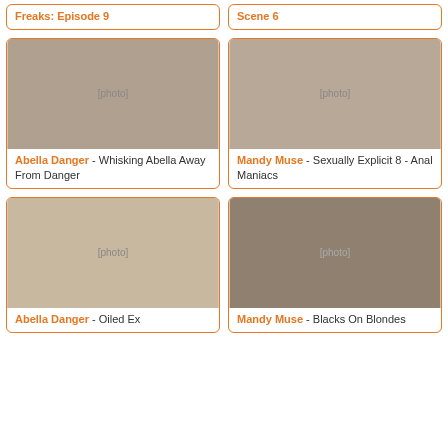[Figure (other): Partial card top row left - Freaks: Episode 9]
[Figure (other): Partial card top row right - Scene 6]
[Figure (photo): Thumbnail for Abella Danger - Whisking Abella Away From Danger]
Abella Danger - Whisking Abella Away From Danger
[Figure (photo): Thumbnail for Mandy Muse - Sexually Explicit 8 - Anal Maniacs]
Mandy Muse - Sexually Explicit 8 - Anal Maniacs
[Figure (photo): Thumbnail for Abella Danger - Oiled Ex]
Abella Danger - Oiled Ex
[Figure (photo): Thumbnail for Mandy Muse - Blacks On Blondes]
Mandy Muse - Blacks On Blondes